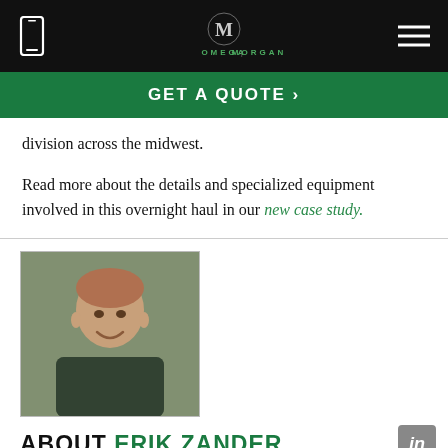Omega Morgan — navigation header with phone icon, logo, and hamburger menu
GET A QUOTE >
division across the midwest.
Read more about the details and specialized equipment involved in this overnight haul in our new case study.
[Figure (photo): Headshot photo of Erik Zander, a man with short reddish hair wearing a dark plaid shirt, smiling at the camera with an industrial background behind him.]
ABOUT ERIK ZANDER